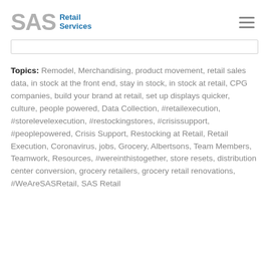SAS Retail Services
Topics: Remodel, Merchandising, product movement, retail sales data, in stock at the front end, stay in stock, in stock at retail, CPG companies, build your brand at retail, set up displays quicker, culture, people powered, Data Collection, #retailexecution, #storelevelexecution, #restockingstores, #crisissupport, #peoplepowered, Crisis Support, Restocking at Retail, Retail Execution, Coronavirus, jobs, Grocery, Albertsons, Team Members, Teamwork, Resources, #wereinthistogether, store resets, distribution center conversion, grocery retailers, grocery retail renovations, #WeAreSASRetail, SAS Retail